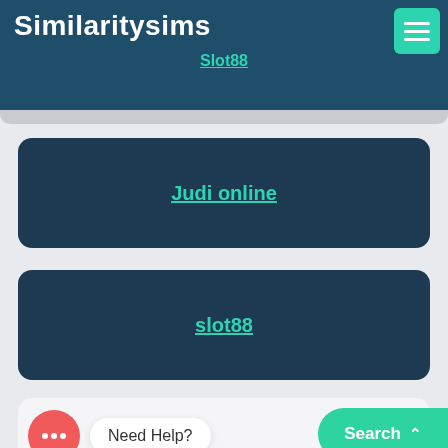Similaritysims
Slot88
Judi online
slot88
Need Help?
Search